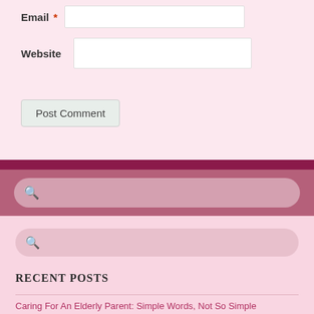Email *
Website
Post Comment
RECENT POSTS
Caring For An Elderly Parent: Simple Words, Not So Simple
Caring For An Elderly Parent: Day or Night, Night or Day?